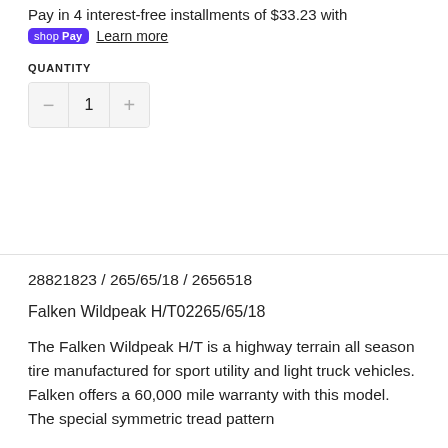Pay in 4 interest-free installments of $33.23 with
shop Pay  Learn more
QUANTITY
1
28821823 / 265/65/18 / 2656518
Falken Wildpeak H/T02265/65/18
The Falken Wildpeak H/T is a highway terrain all season tire manufactured for sport utility and light truck vehicles. Falken offers a 60,000 mile warranty with this model. The special symmetric tread pattern